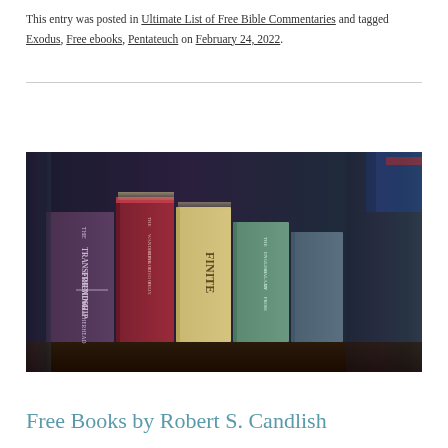This entry was posted in Ultimate List of Free Bible Commentaries and tagged Exodus, Free ebooks, Pentateuch on February 24, 2022.
[Figure (photo): A close-up photograph of several old books standing upright on a shelf, showing their spines. Visible titles include 'The Transforming Friendship' by Weatherhead, and 'The English Galaxy of...' among others. The image has a warm vintage tone.]
Free Books by Robert S. Candlish